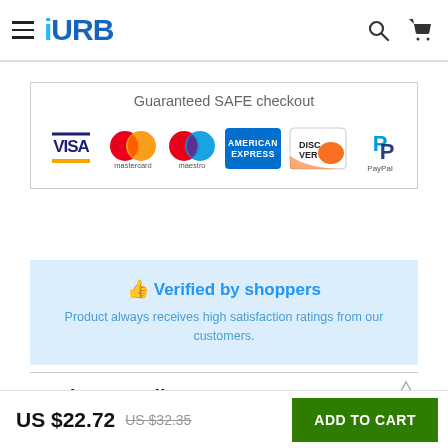URB — navigation header with hamburger menu, search, and cart icons
[Figure (screenshot): Guaranteed SAFE checkout section with payment logos: VISA, Mastercard, Maestro, American Express, Discover, PayPal]
Guaranteed SAFE checkout
👍 Verified by shoppers
Product always receives high satisfaction ratings from our customers.
Product Details
US $22.72  US $32.35  ADD TO CART